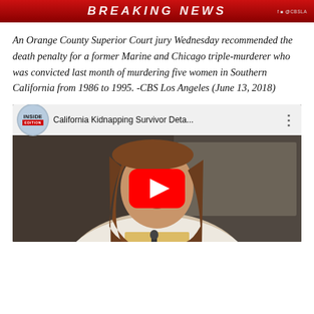[Figure (screenshot): Breaking News bar from CBS Los Angeles TV broadcast, red banner with white bold italic text]
An Orange County Superior Court jury Wednesday recommended the death penalty for a former Marine and Chicago triple-murderer who was convicted last month of murdering five women in Southern California from 1986 to 1995. -CBS Los Angeles (June 13, 2018)
[Figure (screenshot): YouTube video embed thumbnail showing Inside Edition video titled 'California Kidnapping Survivor Deta...' with a woman crying at what appears to be a press conference or court proceeding, with a red YouTube play button overlay]